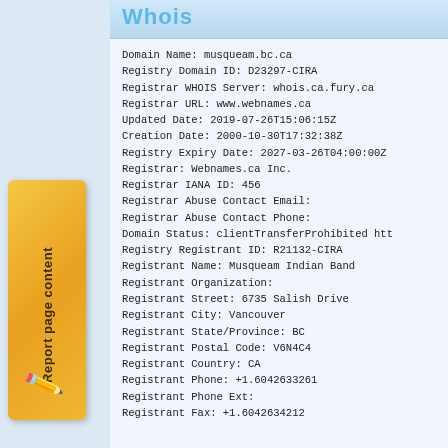Whois
Domain Name: musqueam.bc.ca
Registry Domain ID: D23297-CIRA
Registrar WHOIS Server: whois.ca.fury.ca
Registrar URL: www.webnames.ca
Updated Date: 2019-07-26T15:06:15Z
Creation Date: 2000-10-30T17:32:38Z
Registry Expiry Date: 2027-03-26T04:00:00Z
Registrar: Webnames.ca Inc.
Registrar IANA ID: 456
Registrar Abuse Contact Email:
Registrar Abuse Contact Phone:
Domain Status: clientTransferProhibited htt
Registry Registrant ID: R21132-CIRA
Registrant Name: Musqueam Indian Band
Registrant Organization:
Registrant Street: 6735 Salish Drive
Registrant City: Vancouver
Registrant State/Province: BC
Registrant Postal Code: V6N4C4
Registrant Country: CA
Registrant Phone: +1.6042633261
Registrant Phone Ext:
Registrant Fax: +1.6042634212
[Figure (illustration): Orange/yellow pencil icon on a golden-orange rectangular tab on the left sidebar, with rotated text 'Report page content']